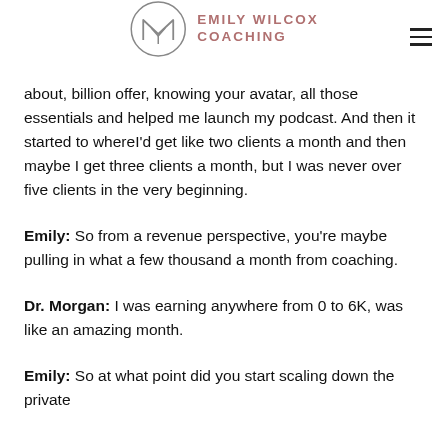Emily Wilcox Coaching
about, billion offer, knowing your avatar, all those essentials and helped me launch my podcast. And then it started to whereI'd get like two clients a month and then maybe I get three clients a month, but I was never over five clients in the very beginning.
Emily: So from a revenue perspective, you're maybe pulling in what a few thousand a month from coaching.
Dr. Morgan: I was earning anywhere from 0 to 6K, was like an amazing month.
Emily: So at what point did you start scaling down the private